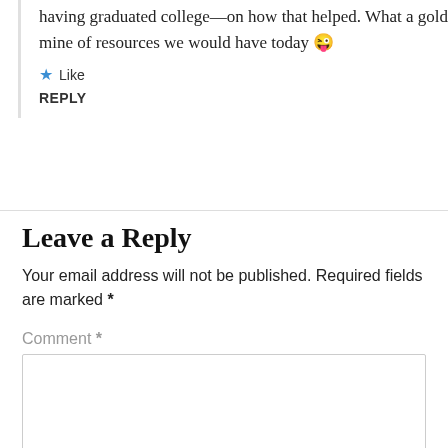having graduated college—on how that helped. What a gold mine of resources we would have today 😜
★ Like
REPLY
Leave a Reply
Your email address will not be published. Required fields are marked *
Comment *